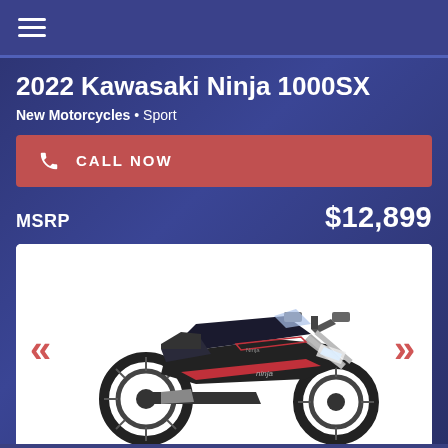Navigation menu
2022 Kawasaki Ninja 1000SX
New Motorcycles • Sport
CALL NOW
MSRP $12,899
[Figure (photo): 2022 Kawasaki Ninja 1000SX sport motorcycle in black with red accents, shown in right-facing profile view against a white background. Navigation chevron arrows visible on left and right sides.]